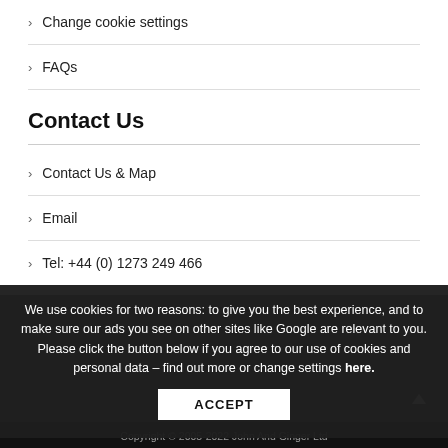Change cookie settings
FAQs
Contact Us
Contact Us & Map
Email
Tel: +44 (0) 1273 249 466
We use cookies for two reasons: to give you the best experience, and to make sure our ads you see on other sites like Google are relevant to you. Please click the button below if you agree to our use of cookies and personal data – find out more or change settings here.
Copyright © 2005-2022 John And Ginger Ltd